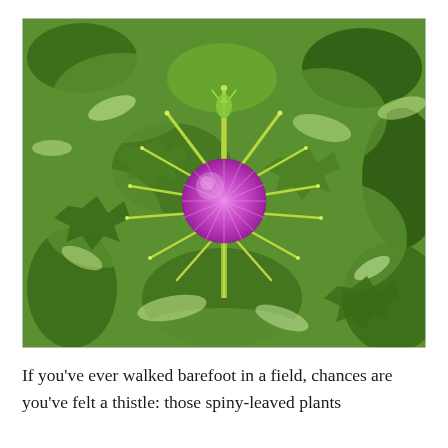[Figure (photo): Close-up photograph of a thistle plant with a bright purple/magenta spiny flower head at the center, surrounded by green spiny leaves with white variegation patterns. The plant's sharp spine-tipped bracts radiate outward from the round purple flower head.]
If you've ever walked barefoot in a field, chances are you've felt a thistle: those spiny-leaved plants